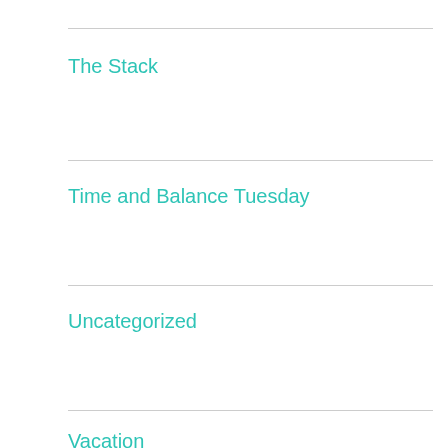The Stack
Time and Balance Tuesday
Uncategorized
Vacation
Wednesday Dinner
Privacy & Cookies: This site uses cookies. By continuing to use this website, you agree to their use.
To find out more, including how to control cookies, see here: Cookie Policy
Close and accept